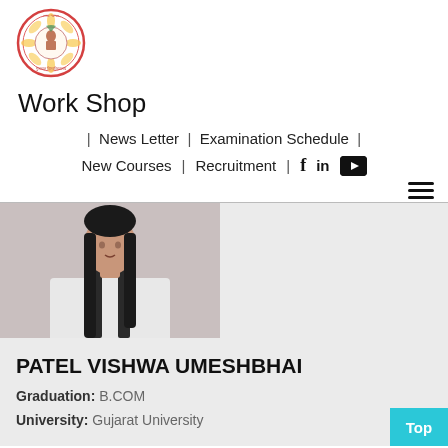[Figure (logo): Gujarat University circular logo with ornate border in red/pink, featuring a deity figure and peacock motif in the center]
Work Shop
| News Letter | Examination Schedule |
New Courses | Recruitment | [Facebook] [LinkedIn] [YouTube]
[Figure (photo): Profile photo of Patel Vishwa Umeshbhai - person with long dark hair wearing white clothing]
PATEL VISHWA UMESHBHAI
Graduation: B.COM
University: Gujarat University